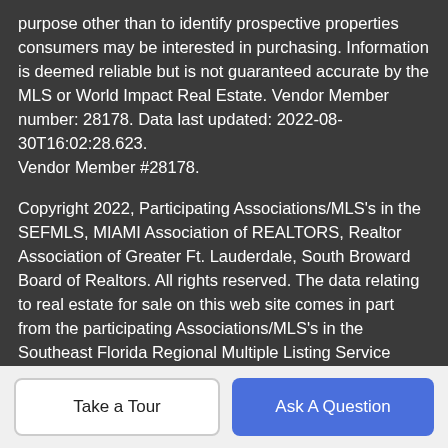purpose other than to identify prospective properties consumers may be interested in purchasing. Information is deemed reliable but is not guaranteed accurate by the MLS or World Impact Real Estate. Vendor Member number: 28178. Data last updated: 2022-08-30T16:02:28.623.
Vendor Member #28178.
Copyright 2022, Participating Associations/MLS's in the SEFMLS, MIAMI Association of REALTORS, Realtor Association of Greater Ft. Lauderdale, South Broward Board of Realtors. All rights reserved. The data relating to real estate for sale on this web site comes in part from the participating Associations/MLS's in the Southeast Florida Regional Multiple Listing Service cooperative agreement, MIAMI Association of REALTORS, Realtor Association of Greater Ft. Lauderdale, South Broward Board of Realtors. The information being provided is for consumers' personal, non-commercial use and may not be used for any purpose other than to identify prospective properties consumers may be interested in
Take a Tour
Ask A Question